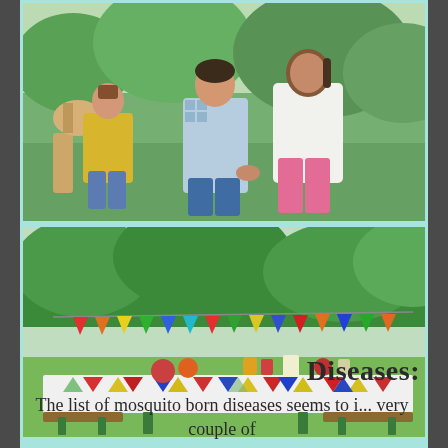[Figure (photo): Three children playing outdoors on a sunny day; two children in foreground holding hands and running, one in a checkered shirt and one in a white top with pink pants; a third child in a yellow sweater visible in the background near a wooden horse toy]
[Figure (photo): Outdoor party setup in a garden; colorful triangular bunting flags strung across the scene; a long table with a colorful triangle-patterned tablecloth and food/drinks on top; green trees in background]
Diseases:
The list of mosquito born diseases seems to i... very couple of